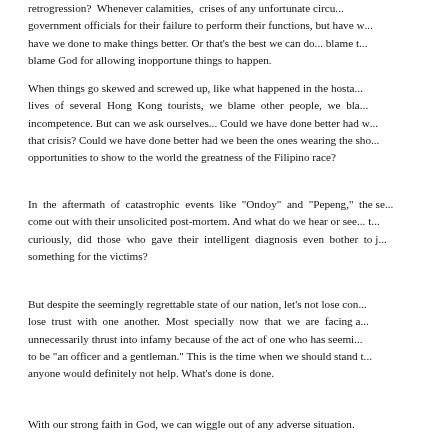retrogression? Whenever calamities, crises of any unfortunate circu... government officials for their failure to perform their functions, but have w... have we done to make things better. Or that's the best we can do... blame t... blame God for allowing inopportune things to happen.
When things go skewed and screwed up, like what happened in the hosta... lives of several Hong Kong tourists, we blame other people, we bla... incompetence. But can we ask ourselves... Could we have done better had w... that crisis? Could we have done better had we been the ones wearing the sho... opportunities to show to the world the greatness of the Filipino race?
In the aftermath of catastrophic events like “Ondoy” and “Pepeng,” the se... come out with their unsolicited post-mortem. And what do we hear or see... t... curiously, did those who gave their intelligent diagnosis even bother to j... something for the victims?
But despite the seemingly regrettable state of our nation, let’s not lose con... lose trust with one another. Most specially now that we are facing a... unnecessarily thrust into infamy because of the act of one who has seemi... to be “an officer and a gentleman.” This is the time when we should stand t... anyone would definitely not help. What’s done is done.
With our strong faith in God, we can wiggle out of any adverse situation.